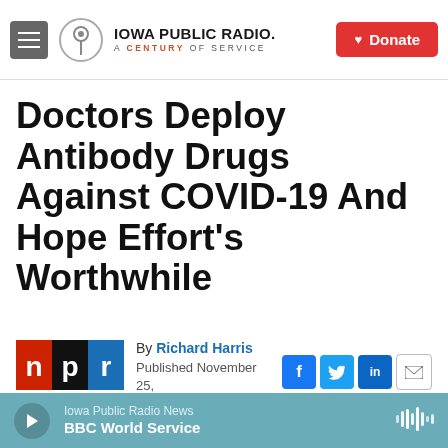Iowa Public Radio - A Century of Service | Donate
Doctors Deploy Antibody Drugs Against COVID-19 And Hope Effort's Worthwhile
By Richard Harris
Published November 25, 2020 at 3:32 PM CST
[Figure (logo): NPR logo - red, black, blue squares with letters n, p, r]
[Figure (screenshot): Partial image strip at bottom of article]
Iowa Public Radio News | BBC World Service